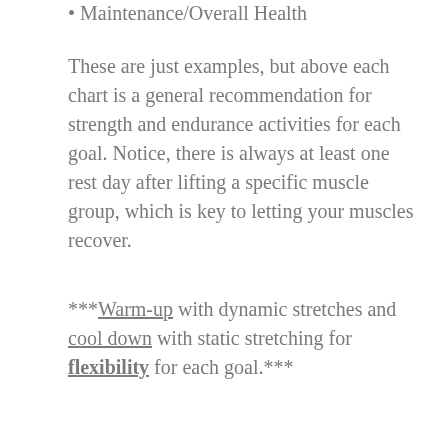Maintenance/Overall Health
These are just examples, but above each chart is a general recommendation for strength and endurance activities for each goal. Notice, there is always at least one rest day after lifting a specific muscle group, which is key to letting your muscles recover.
***Warm-up with dynamic stretches and cool down with static stretching for flexibility for each goal.***